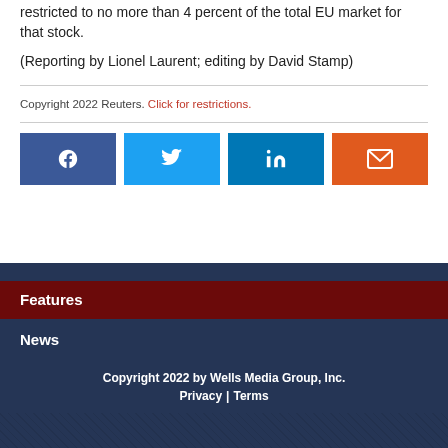restricted to no more than 4 percent of the total EU market for that stock.
(Reporting by Lionel Laurent; editing by David Stamp)
Copyright 2022 Reuters. Click for restrictions.
[Figure (infographic): Four social sharing buttons: Facebook (dark blue), Twitter (light blue), LinkedIn (medium blue), Email (orange)]
Features
News
Copyright 2022 by Wells Media Group, Inc. Privacy | Terms